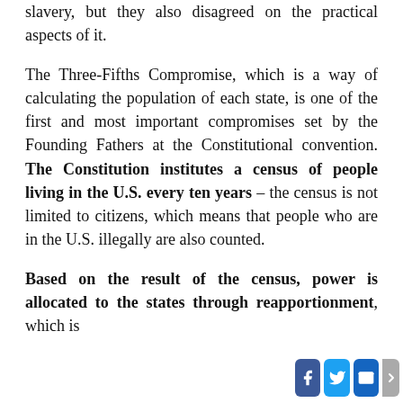slavery, but they also disagreed on the practical aspects of it.
The Three-Fifths Compromise, which is a way of calculating the population of each state, is one of the first and most important compromises set by the Founding Fathers at the Constitutional convention. The Constitution institutes a census of people living in the U.S. every ten years – the census is not limited to citizens, which means that people who are in the U.S. illegally are also counted.
Based on the result of the census, power is allocated to the states through reapportionment, which is